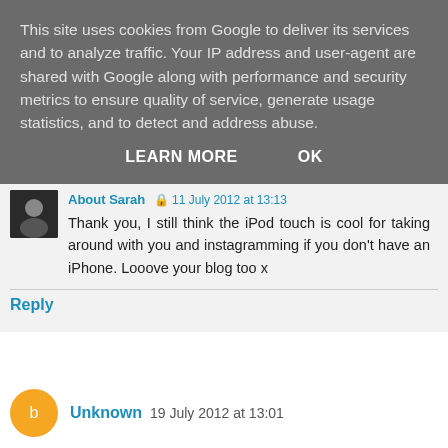This site uses cookies from Google to deliver its services and to analyze traffic. Your IP address and user-agent are shared with Google along with performance and security metrics to ensure quality of service, generate usage statistics, and to detect and address abuse.
LEARN MORE   OK
About Sarah · 11 July 2012 at 13:13
Thank you, I still think the iPod touch is cool for taking around with you and instagramming if you don't have an iPhone. Looove your blog too x
Reply
Unknown  19 July 2012 at 13:01
Stumbled across your blog! I too am looking to get an ipad but I am unsure If I will be able to blog from it. How are you finding it?